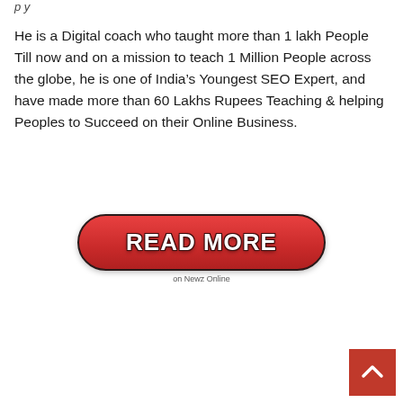p y
He is a Digital coach who taught more than 1 lakh People Till now and on a mission to teach 1 Million People across the globe, he is one of India's Youngest SEO Expert, and have made more than 60 Lakhs Rupees Teaching & helping Peoples to Succeed on their Online Business.
[Figure (other): A red oval READ MORE button with white bold text and dark outline, with 'on Newz Online' label below it]